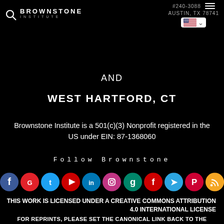#240-3088 AUSTIN, TX 78741 BROWNSTONE INSTITUTE
AND
WEST HARTFORD, CT
Brownstone Institute is a 501(c)(3) Nonprofit registered in the US under EIN: 87-1368060
Follow Brownstone
[Figure (infographic): Row of 11 social media icons: Facebook, GETTR, Twitter, YouTube, LinkedIn, Instagram, Goodreads, Flipboard, Telegram, Parler, RSS]
THIS WORK IS LICENSED UNDER A CREATIVE COMMONS ATTRIBUTION 4.0 INTERNATIONAL LICENSE
FOR REPRINTS, PLEASE SET THE CANONICAL LINK BACK TO THE